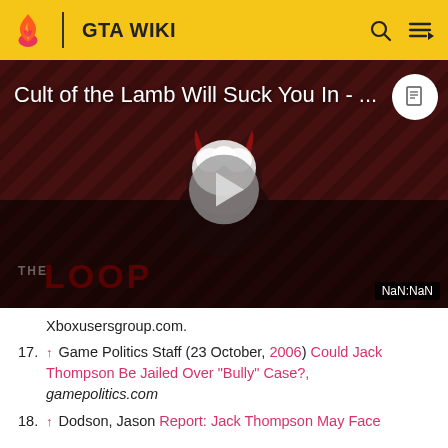GTA WIKI
[Figure (screenshot): Video thumbnail for 'Cult of the Lamb Will Suck You In' with play button overlay, THE LOOP branding, and NaN:NaN time display]
Xboxusersgroup.com.
17. ↑ Game Politics Staff (23 October, 2006) Could Jack Thompson Be Jailed Over "Bully" Case?, gamepolitics.com
18. ↑ Dodson, Jason Report: Jack Thompson May Face